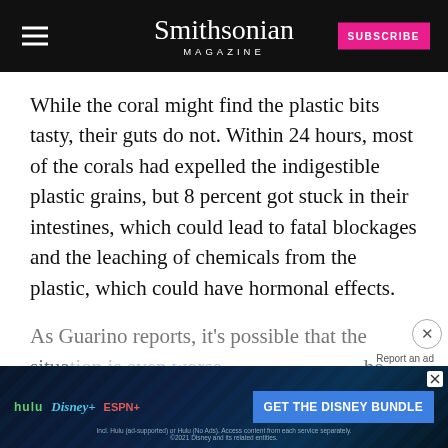Smithsonian Magazine
While the coral might find the plastic bits tasty, their guts do not. Within 24 hours, most of the corals had expelled the indigestible plastic grains, but 8 percent got stuck in their intestines, which could lead to fatal blockages and the leaching of chemicals from the plastic, which could have hormonal effects.
As Guarino reports, it's possible that the situation is even wors... in the wild...
[Figure (screenshot): Disney Bundle advertisement banner featuring Hulu, Disney+, and ESPN+ logos with 'GET THE DISNEY BUNDLE' call-to-action button]